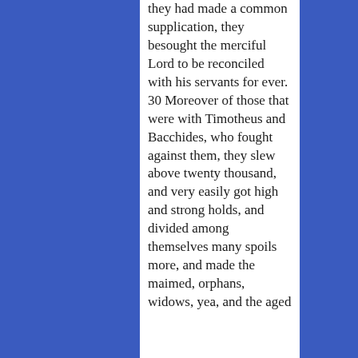they had made a common supplication, they besought the merciful Lord to be reconciled with his servants for ever. 30 Moreover of those that were with Timotheus and Bacchides, who fought against them, they slew above twenty thousand, and very easily got high and strong holds, and divided among themselves many spoils more, and made the maimed, orphans, widows, yea, and the aged